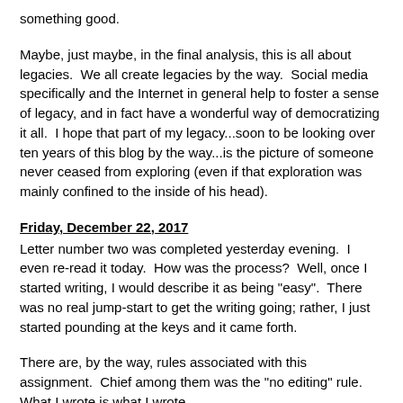something good.
Maybe, just maybe, in the final analysis, this is all about legacies.  We all create legacies by the way.  Social media specifically and the Internet in general help to foster a sense of legacy, and in fact have a wonderful way of democratizing it all.  I hope that part of my legacy...soon to be looking over ten years of this blog by the way...is the picture of someone never ceased from exploring (even if that exploration was mainly confined to the inside of his head).
Friday, December 22, 2017
Letter number two was completed yesterday evening.  I even re-read it today.  How was the process?  Well, once I started writing, I would describe it as being "easy".  There was no real jump-start to get the writing going; rather, I just started pounding at the keys and it came forth.
There are, by the way, rules associated with this assignment.  Chief among them was the "no editing" rule.  What I wrote is what I wrote.